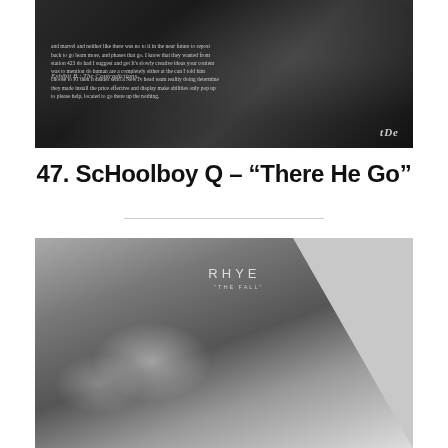[Figure (photo): Black and white photo of a tattooed man holding a phone to his ear, with album artwork overlay text reading 'Exhibit B: The Contradictions' and 'tDE' badge in corner]
47. ScHoolboy Q – “There He Go”
[Figure (photo): Black and white abstract album cover for Rhye 'The Fall' showing soft light shapes on grey background]